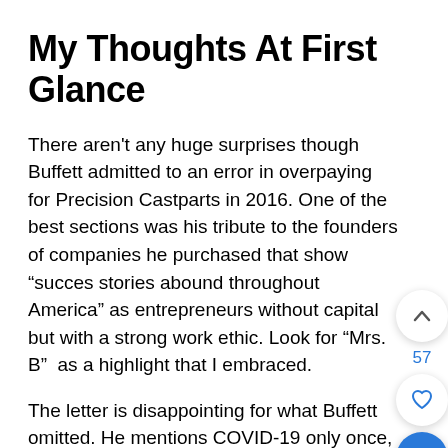My Thoughts At First Glance
There aren’t any huge surprises though Buffett admitted to an error in overpaying for Precision Castparts in 2016. One of the best sections was his tribute to the founders of companies he purchased that show “success stories abound throughout America” as entrepreneurs without capital but with a strong work ethic. Look for “Mrs. B”  as a highlight that I embraced.
The letter is disappointing for what Buffett omitted. He mentions COVID-19 only once, alluding to it when he commented on the furniture company’s temporary closing. Yet,